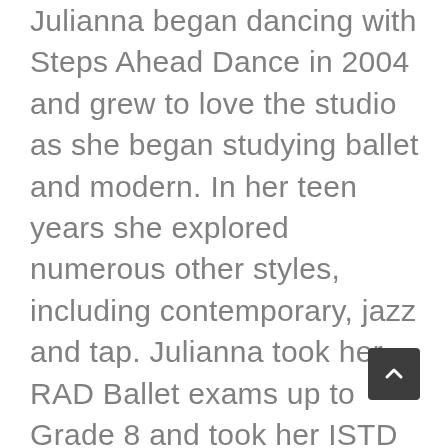Julianna began dancing with Steps Ahead Dance in 2004 and grew to love the studio as she began studying ballet and modern. In her teen years she explored numerous other styles, including contemporary, jazz and tap. Julianna took her RAD Ballet exams up to Grade 8 and took her ISTD Advanced 2 Modern in April 2019. From a very young age, Julianna knew she loved teaching. Under the direction of Lorraine Blake, she helped on Saturday mornings with the littlest dancers for many years. This has led her to peruse her Bachelor of Education at Vancouver Island